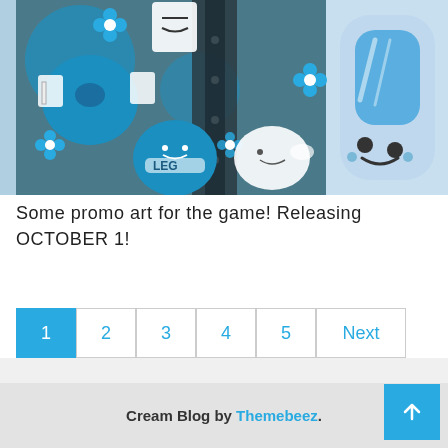[Figure (illustration): Promotional game art with blue-tinted cartoon characters including creatures labeled 'LEG' on a dark background left side, and a cute rounded ghost-like character on a light blue background right side]
Some promo art for the game! Releasing OCTOBER 1!
Pagination: 1 (active), 2, 3, 4, 5, Next
Cream Blog by Themebeez.